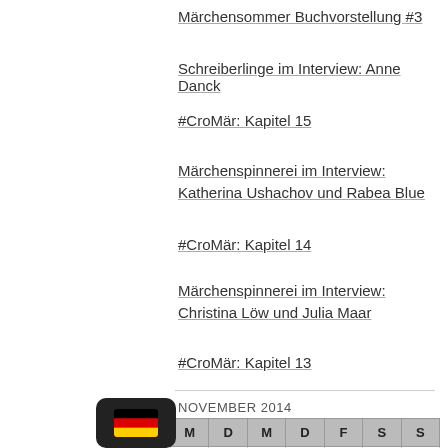Märchensommer Buchvorstellung #3
Schreiberlinge im Interview: Anne Danck
#CroMär: Kapitel 15
Märchenspinnerei im Interview: Katherina Ushachov und Rabea Blue
#CroMär: Kapitel 14
Märchenspinnerei im Interview: Christina Löw und Julia Maar
#CroMär: Kapitel 13
NOVEMBER 2014
| M | D | M | D | F | S | S |
| --- | --- | --- | --- | --- | --- | --- |
|  |  |  |  |  | 1 | 2 |
| 3 | 4 | 5 | 6 | 7 | 8 | 9 |
| 10 | 11 | 12 | 13 | 14 | 15 | 16 |